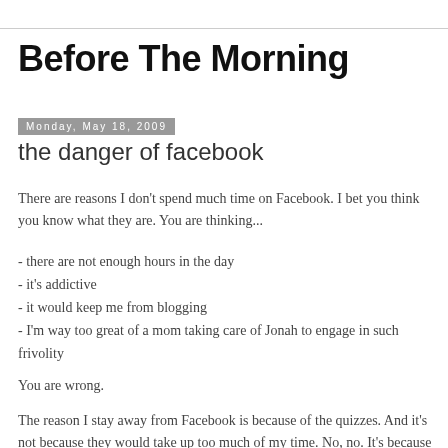Before The Morning
Monday, May 18, 2009
the danger of facebook
There are reasons I don't spend much time on Facebook. I bet you think you know what they are. You are thinking...
- there are not enough hours in the day
- it's addictive
- it would keep me from blogging
- I'm way too great of a mom taking care of Jonah to engage in such frivolity
You are wrong.
The reason I stay away from Facebook is because of the quizzes. And it's not because they would take up too much of my time. No, no. It's because I find the quiz results uncannily accurate, and they